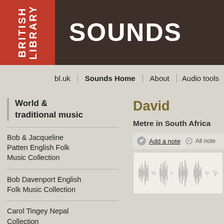BRITISH LIBRARY SOUNDS
bl.uk | Sounds Home | About | Audio tools
World & traditional music
Bob & Jacqueline Patten English Folk Music Collection
Bob Davenport English Folk Music Collection
Carol Tingey Nepal Collection
Carole Pegg English & Scottish Folk Music Collection
David
Metre in South Africa
[Figure (other): Audio waveform display with Add a note and All notes controls]